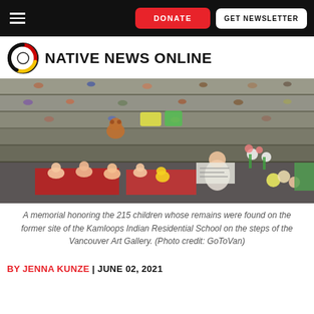DONATE | GET NEWSLETTER
[Figure (logo): Native News Online logo with circular emblem and bold uppercase text]
[Figure (photo): A memorial honoring the 215 children whose remains were found on the former site of the Kamloops Indian Residential School on the steps of the Vancouver Art Gallery. Shoes, dolls, flowers, and toys cover the steps as tributes.]
A memorial honoring the 215 children whose remains were found on the former site of the Kamloops Indian Residential School on the steps of the Vancouver Art Gallery. (Photo credit: GoToVan)
BY JENNA KUNZE | JUNE 02, 2021